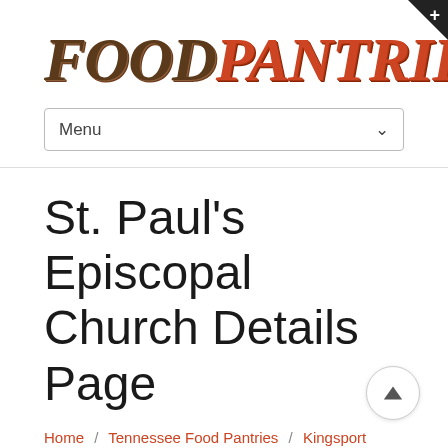[Figure (logo): FoodPantries.org logo in stylized serif font with FOOD in dark brown, PANTRIES in red/orange, and .ORG in gray]
Menu
St. Paul's Episcopal Church Details Page
Home / Tennessee Food Pantries / Kingsport Food Pantries